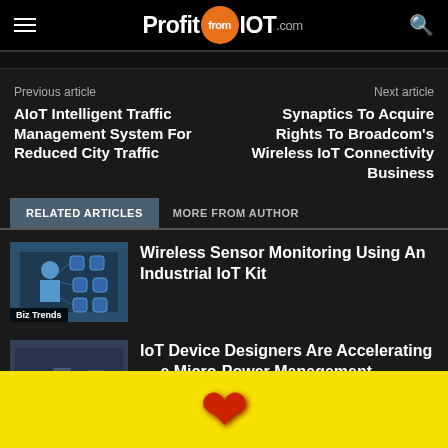ProfitfromIOT.com
Previous article
Next article
AIoT Intelligent Traffic Management System For Reduced City Traffic
Synaptics To Acquire Rights To Broadcom's Wireless IoT Connectivity Business
RELATED ARTICLES
MORE FROM AUTHOR
[Figure (photo): Medical IoT devices illustration with person and connected icons]
Wireless Sensor Monitoring Using An Industrial IoT Kit
Biz Trends
[Figure (photo): Tech/microcontroller related image]
IoT Device Designers Are Accelerating … e Micro-Power Management
Biz Trends
[Figure (other): Yellow advertisement banner with red heart icon]